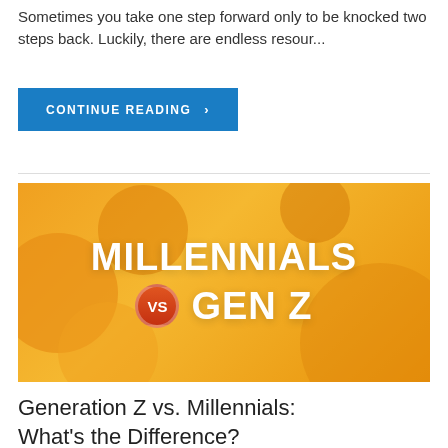Sometimes you take one step forward only to be knocked two steps back. Luckily, there are endless resour...
CONTINUE READING ›
[Figure (illustration): Orange gradient banner with circular bubble shapes in background. Bold white uppercase text reads 'MILLENNIALS' on top line, then a red circular badge with 'vs' followed by 'GEN Z' in large white bold text.]
Generation Z vs. Millennials: What's the Difference?